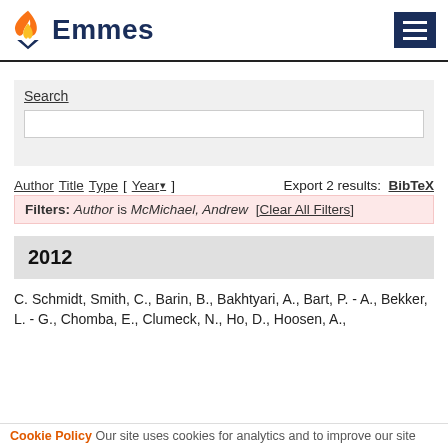Emmes
Search
Author Title Type [ Year ▾ ]    Export 2 results:  BibTeX
Filters: Author is McMichael, Andrew  [Clear All Filters]
2012
C. Schmidt, Smith, C., Barin, B., Bakhtyari, A., Bart, P. - A., Bekker, L. - G., Chomba, E., Clumeck, N., Ho, D., Hoosen, A.,
Cookie Policy Our site uses cookies for analytics and to improve our site